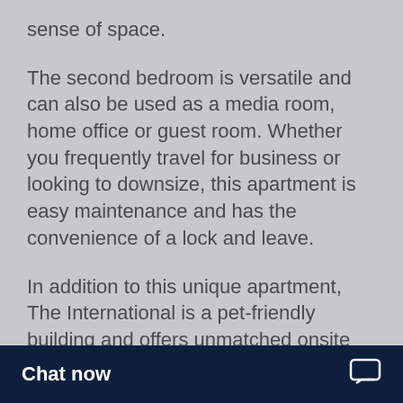sense of space.
The second bedroom is versatile and can also be used as a media room, home office or guest room. Whether you frequently travel for business or looking to downsize, this apartment is easy maintenance and has the convenience of a lock and leave.
In addition to this unique apartment, The International is a pet-friendly building and offers unmatched onsite amenities. Concierge desk, residents cinema, a private dining room which hosts up to 20 seated guests, library, gym, a heated pool and spa. Accompanying these amenities is Onslo
Chat now